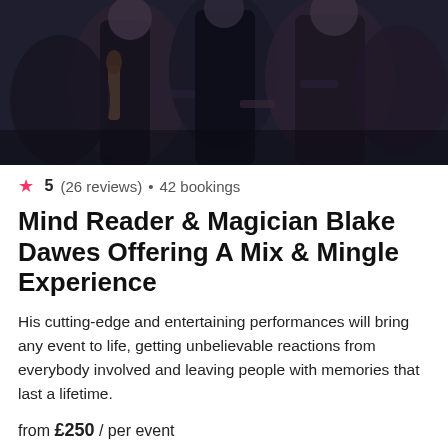[Figure (photo): People at a formal event, man in tuxedo holding beer bottle, woman in dark dress and necklace]
★ 5 (26 reviews) • 42 bookings
Mind Reader & Magician Blake Dawes Offering A Mix & Mingle Experience
His cutting-edge and entertaining performances will bring any event to life, getting unbelievable reactions from everybody involved and leaving people with memories that last a lifetime.
from £250 / per event
[Figure (photo): People gathered around a table at an elegant indoor event, man performing for seated guests]